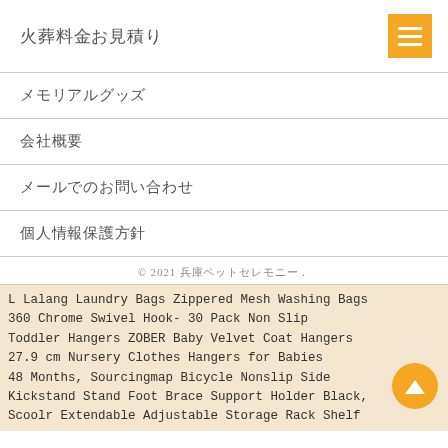火葬料金お見積り
メモリアルグッズ
会社概要
メールでのお問い合わせ
個人情報保護方針
© 2021 兵庫ペットセレモニー.
L Lalang Laundry Bags Zippered Mesh Washing Bags
360 Chrome Swivel Hook- 30 Pack Non Slip
Toddler Hangers ZOBER Baby Velvet Coat Hangers 27.9 cm Nursery Clothes Hangers for Babies 48 Months, Sourcingmap Bicycle Nonslip Side Kickstand Stand Foot Brace Support Holder Black, Scoolr Extendable Adjustable Storage Rack Shelf